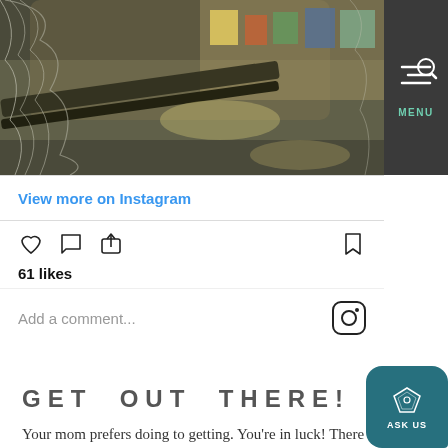[Figure (photo): Instagram photo of a store or market interior with shelves, boxes, and decorative netting/tinsel in the foreground]
View more on Instagram
[Figure (other): Instagram action icons: heart (like), comment bubble, share arrow, and bookmark icon; also Instagram camera logo]
61 likes
Add a comment...
GET OUT THERE!
Your mom prefers doing to getting. You're in luck! There are so many things here to get mom out and about. Get her tickets to a show at the Eccles Theater, Hale Centre Theatre, or one of the many other live theatre companies or performing arts, dance, and music